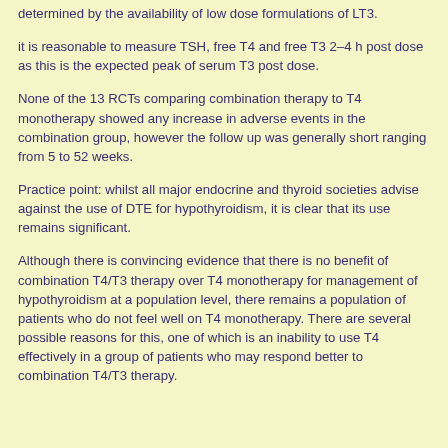determined by the availability of low dose formulations of LT3.
it is reasonable to measure TSH, free T4 and free T3 2–4 h post dose as this is the expected peak of serum T3 post dose.
None of the 13 RCTs comparing combination therapy to T4 monotherapy showed any increase in adverse events in the combination group, however the follow up was generally short ranging from 5 to 52 weeks.
Practice point: whilst all major endocrine and thyroid societies advise against the use of DTE for hypothyroidism, it is clear that its use remains significant.
Although there is convincing evidence that there is no benefit of combination T4/T3 therapy over T4 monotherapy for management of hypothyroidism at a population level, there remains a population of patients who do not feel well on T4 monotherapy. There are several possible reasons for this, one of which is an inability to use T4 effectively in a group of patients who may respond better to combination T4/T3 therapy.